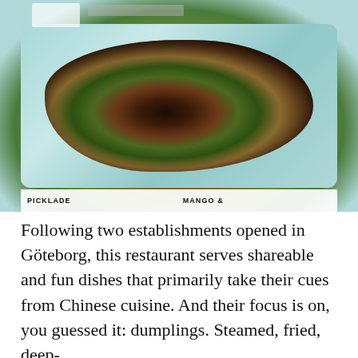[Figure (photo): A dish of grilled or pan-fried meat with vegetables and herbs served on a light blue/turquoise rectangular plate. A caption bar at the bottom of the image reads 'PICKLADE' on the left and 'MANGO &' on the right.]
PICKLADE    MANGO &
Following two establishments opened in Göteborg, this restaurant serves shareable and fun dishes that primarily take their cues from Chinese cuisine. And their focus is on, you guessed it: dumplings. Steamed, fried, deep-